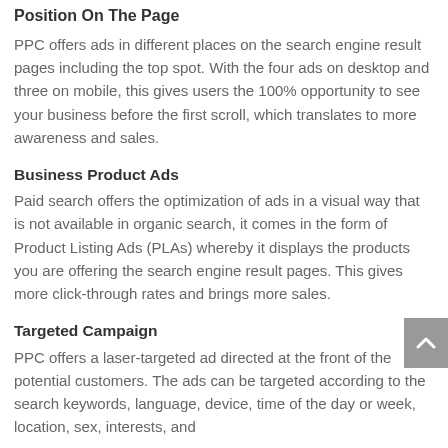Position On The Page
PPC offers ads in different places on the search engine result pages including the top spot. With the four ads on desktop and three on mobile, this gives users the 100% opportunity to see your business before the first scroll, which translates to more awareness and sales.
Business Product Ads
Paid search offers the optimization of ads in a visual way that is not available in organic search, it comes in the form of Product Listing Ads (PLAs) whereby it displays the products you are offering the search engine result pages. This gives more click-through rates and brings more sales.
Targeted Campaign
PPC offers a laser-targeted ad directed at the front of the potential customers. The ads can be targeted according to the search keywords, language, device, time of the day or week, location, sex, interests, and